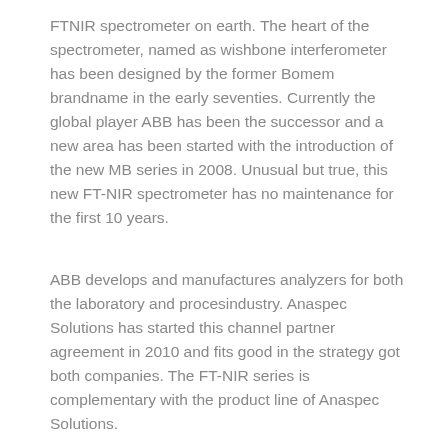FTNIR spectrometer on earth. The heart of the spectrometer, named as wishbone interferometer has been designed by the former Bomem brandname in the early seventies. Currently the global player ABB has been the successor and a new area has been started with the introduction of the new MB series in 2008. Unusual but true, this new FT-NIR spectrometer has no maintenance for the first 10 years.
ABB develops and manufactures analyzers for both the laboratory and procesindustry. Anaspec Solutions has started this channel partner agreement in 2010 and fits good in the strategy got both companies. The FT-NIR series is complementary with the product line of Anaspec Solutions.